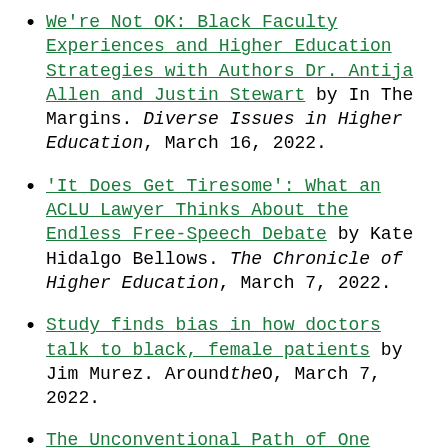We're Not OK: Black Faculty Experiences and Higher Education Strategies with Authors Dr. Antija Allen and Justin Stewart by In The Margins. Diverse Issues in Higher Education, March 16, 2022.
'It Does Get Tiresome': What an ACLU Lawyer Thinks About the Endless Free-Speech Debate by Kate Hidalgo Bellows. The Chronicle of Higher Education, March 7, 2022.
Study finds bias in how doctors talk to black, female patients by Jim Murez. AroundtheO, March 7, 2022.
The Unconventional Path of One...